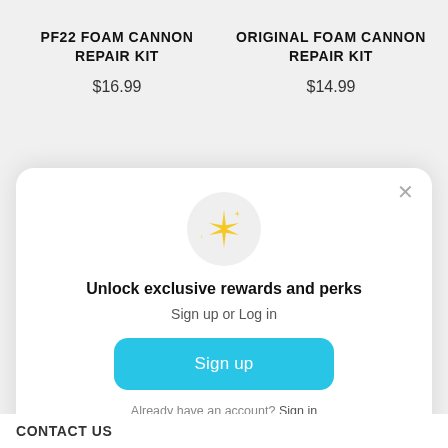PF22 FOAM CANNON REPAIR KIT
$16.99
ORIGINAL FOAM CANNON REPAIR KIT
$14.99
[Figure (illustration): Sparkle/stars emoji icon inside a light grey circle]
Unlock exclusive rewards and perks
Sign up or Log in
Sign up
Already have an account? Sign in
CONTACT US